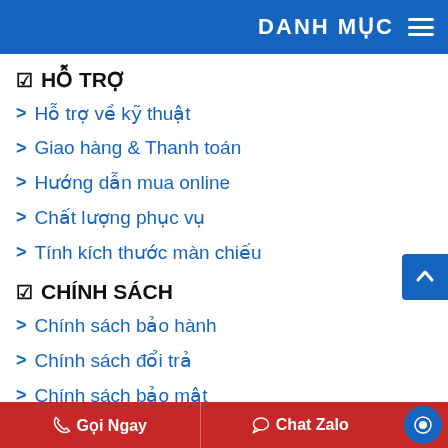DANH MỤC
✅ HỖ TRỢ
> Hỗ trợ về kỹ thuật
> Giao hàng & Thanh toán
> Hướng dẫn mua online
> Chất lượng phục vụ
> Tính kích thước màn chiếu
✅ CHÍNH SÁCH
> Chính sách bảo hành
> Chính sách đổi trả
> Chính sách bảo mật
> Dịch vụ sửa chữa, bảo trì
> Chính sách khiếu nại
💳 PHƯƠNG THỨC THANH TOÁN
Gọi Ngay  Chat Zalo